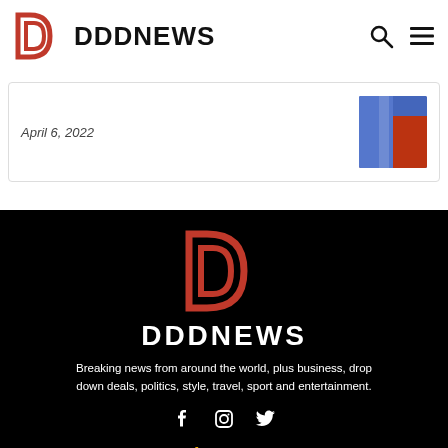DDDNEWS
April 6, 2022
[Figure (photo): Thumbnail image of a person in a blue/red jacket]
[Figure (logo): DDDNEWS logo - double D letter mark in red on black background]
DDDNEWS
Breaking news from around the world, plus business, drop down deals, politics, style, travel, sport and entertainment.
[Figure (infographic): Social media icons: Facebook, Instagram, Twitter in white on black]
About Us